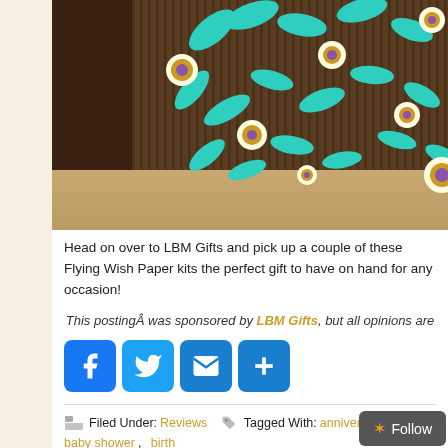[Figure (photo): Photo of decorative wrapping paper or gift wrap with brown striped background, teal/turquoise leaf shapes, and white daisy flowers with purple centers, displayed on a speckled surface.]
Head on over to LBM Gifts and pick up a couple of these Flying Wish Paper kits the perfect gift to have on hand for any occasion!
This postingÃ¢Âwas sponsored by LBM Gifts, but all opinions are
[Figure (infographic): Social sharing buttons: Facebook (blue f), Twitter (blue bird), Email (envelope), Share (+) buttons]
Filed Under: Reviews   Tagged With: anniversary, baby shower, birth occasion, thank you, wish
Shop Now